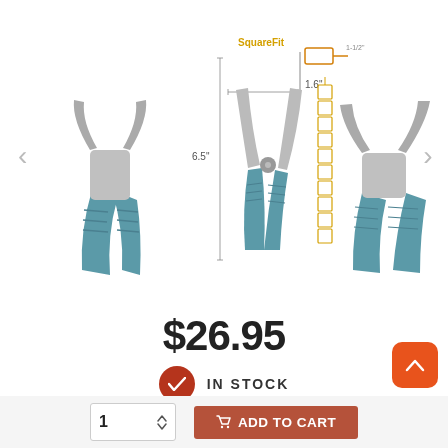[Figure (photo): Three views of needle-nose/square pliers with teal rubber grips and silver jaws, shown with SquareFit branding, dimensions (6.5 inch length, 1.6 inch jaw), and a chain of square wire loops. Navigation arrows on left and right.]
$26.95
IN STOCK
or 4 payments of $6.74 with afterpay Info
Creates 2-8mm square loops in wire
ADD TO CART